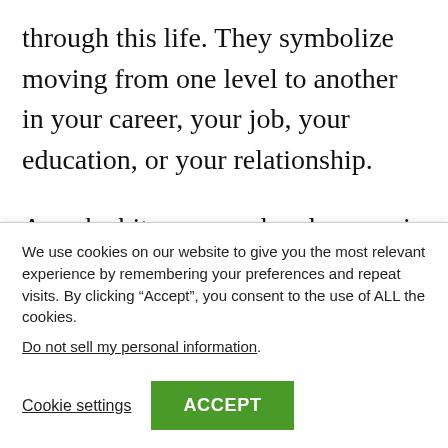through this life. They symbolize moving from one level to another in your career, your job, your education, or your relationship.
A snake bite on your hand or arm in the dream means your productivity will be affected. The works of your hands will either slow down or come to a
We use cookies on our website to give you the most relevant experience by remembering your preferences and repeat visits. By clicking “Accept”, you consent to the use of ALL the cookies.
Do not sell my personal information.
Cookie settings   ACCEPT